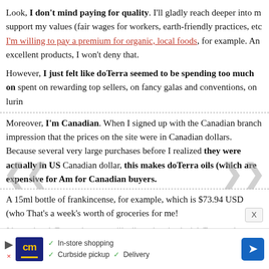Look, I don't mind paying for quality. I'll gladly reach deeper into my pocket for companies that support my values (fair wages for workers, earth-friendly practices, etc). I'm willing to pay a premium for organic, local foods, for example. And doTerra does make excellent products, I won't deny that.
However, I just felt like doTerra seemed to be spending too much on... spent on rewarding top sellers, on fancy galas and conventions, on luring...
Moreover, I'm Canadian. When I signed up with the Canadian branch I was under the impression that the prices on the site were in Canadian dollars. Because several very large purchases before I realized they were actually in US dollars. With the Canadian dollar, this makes doTerra oils (which are expensive for Americans) even more expensive for Canadian buyers.
A 15ml bottle of frankincense, for example, which is $73.94 USD (who... That's a week's worth of groceries for me!